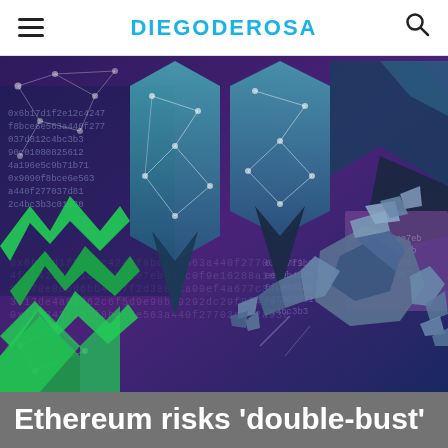DIEGODEROSA
[Figure (illustration): Crypto/blockchain themed illustration with purple and teal background, geometric network nodes and lines, Ethereum-style diamond shapes in teal/dark blue forming a stylized letter pattern, green zigzag/arrow shapes on the left, hex code/hash text overlaid on the background, and a stylized origami-like robot/crab creature with claws on the right side.]
Ethereum risks ‘double-bust’